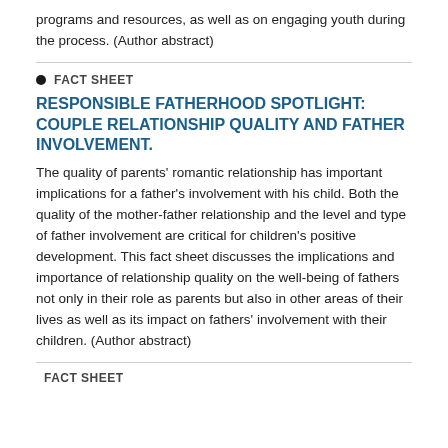programs and resources, as well as on engaging youth during the process. (Author abstract)
FACT SHEET
RESPONSIBLE FATHERHOOD SPOTLIGHT: COUPLE RELATIONSHIP QUALITY AND FATHER INVOLVEMENT.
The quality of parents' romantic relationship has important implications for a father's involvement with his child. Both the quality of the mother-father relationship and the level and type of father involvement are critical for children's positive development. This fact sheet discusses the implications and importance of relationship quality on the well-being of fathers not only in their role as parents but also in other areas of their lives as well as its impact on fathers' involvement with their children. (Author abstract)
FACT SHEET